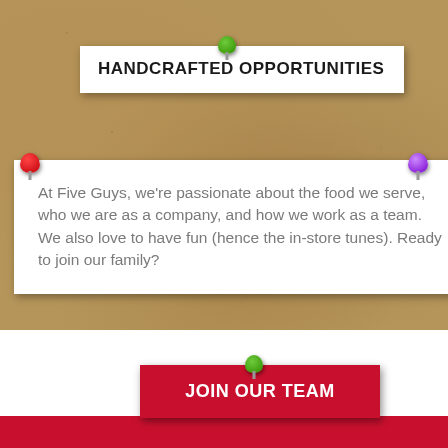HANDCRAFTED OPPORTUNITIES
At Five Guys, we're passionate about the food we serve, who we are as a company, and how we work as a team. We also love to have fun (hence the in-store tunes). Ready to join our family?
JOIN OUR TEAM